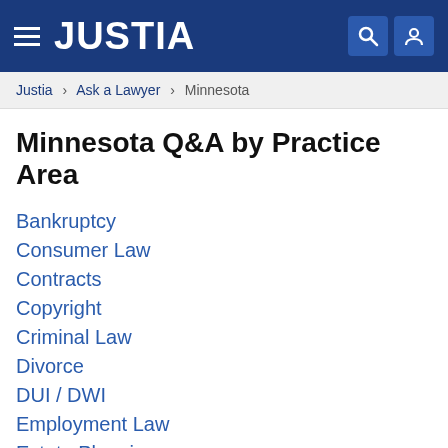JUSTIA
Justia › Ask a Lawyer › Minnesota
Minnesota Q&A by Practice Area
Bankruptcy
Consumer Law
Contracts
Copyright
Criminal Law
Divorce
DUI / DWI
Employment Law
Estate Planning
Family Law
Foreclosure
Immigration Law